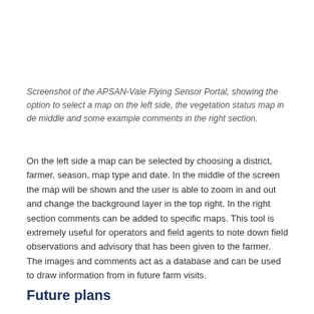Screenshot of the APSAN-Vale Flying Sensor Portal, showing the option to select a map on the left side, the vegetation status map in de middle and some example comments in the right section.
On the left side a map can be selected by choosing a district, farmer, season, map type and date. In the middle of the screen the map will be shown and the user is able to zoom in and out and change the background layer in the top right. In the right section comments can be added to specific maps. This tool is extremely useful for operators and field agents to note down field observations and advisory that has been given to the farmer. The images and comments act as a database and can be used to draw information from in future farm visits.
Future plans